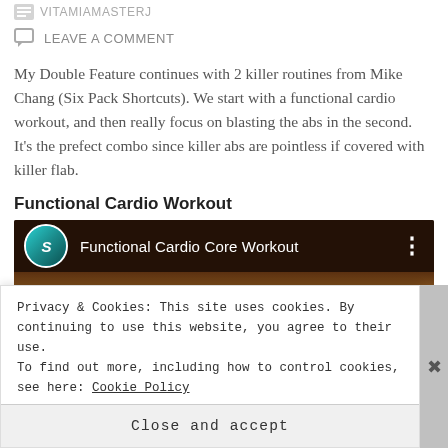VITAMIAMASTERJ
LEAVE A COMMENT
My Double Feature continues with 2 killer routines from Mike Chang (Six Pack Shortcuts).  We start with a functional cardio workout, and then really focus on blasting the abs in the second.  It's the prefect combo since killer abs are pointless if covered with killer flab.
Functional Cardio Workout
[Figure (screenshot): YouTube video thumbnail for 'Functional Cardio Core Workout' with channel icon showing 'S' logo on teal background]
Privacy & Cookies: This site uses cookies. By continuing to use this website, you agree to their use.
To find out more, including how to control cookies, see here: Cookie Policy
Close and accept